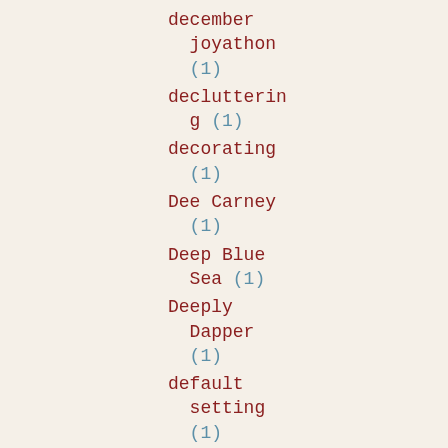december joyathon (1)
decluttering (1)
decorating (1)
Dee Carney (1)
Deep Blue Sea (1)
Deeply Dapper (1)
default setting (1)
Delivery